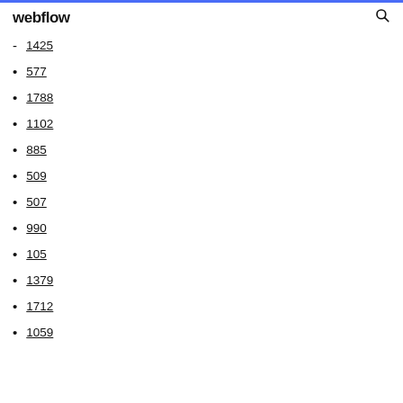webflow
1425
577
1788
1102
885
509
507
990
105
1379
1712
1059